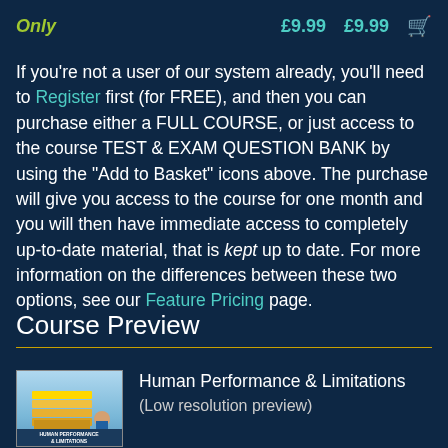Only  £9.99  £9.99  [basket]
If you're not a user of our system already, you'll need to Register first (for FREE), and then you can purchase either a FULL COURSE, or just access to the course TEST & EXAM QUESTION BANK by using the "Add to Basket" icons above. The purchase will give you access to the course for one month and you will then have immediate access to completely up-to-date material, that is kept up to date. For more information on the differences between these two options, see our Feature Pricing page.
Course Preview
[Figure (photo): Book cover thumbnail for Human Performance & Limitations course]
Human Performance & Limitations
(Low resolution preview)